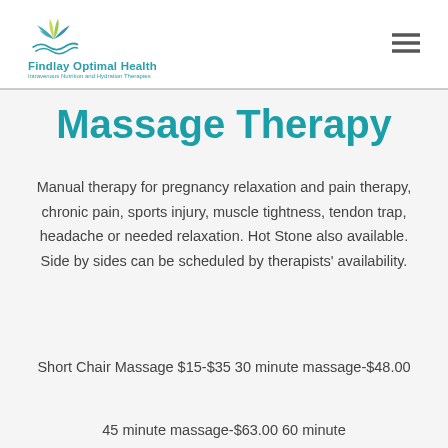Findlay Optimal Health — Intravenous Nutrition and Hydration Therapies
Massage Therapy
Manual therapy for pregnancy relaxation and pain therapy, chronic pain, sports injury, muscle tightness, tendon trap, headache or needed relaxation. Hot Stone also available. Side by sides can be scheduled by therapists' availability.
Short Chair Massage $15-$35 30 minute massage-$48.00
45 minute massage-$63.00 60 minute